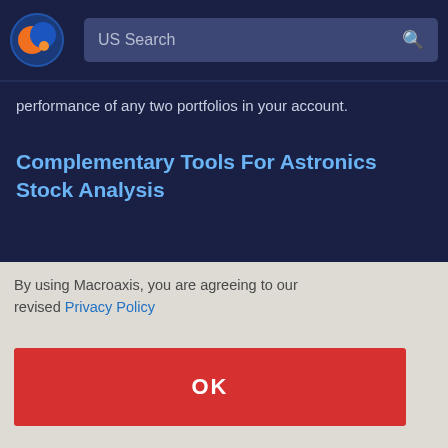[Figure (logo): Macroaxis logo - orange and blue circular icon]
US Search
performance of any two portfolios in your account.
Complementary Tools For Astronics Stock Analysis
By using Macroaxis, you are agreeing to our revised Privacy Policy
OK
dity, ge, ols that e rice ice